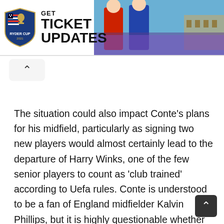[Figure (screenshot): Ryder Cup banner advertisement showing the Ryder Cup logo on the left with text 'GET TICKET UPDATES' and a photo of golfers on the right]
The situation could also impact Conte's plans for his midfield, particularly as signing two new players would almost certainly lead to the departure of Harry Winks, one of the few senior players to count as 'club trained' according to Uefa rules. Conte is understood to be a fan of England midfielder Kalvin Phillips, but it is highly questionable whether or not Levy would agree to pay what Manchester United could offer for the Leeds United star.